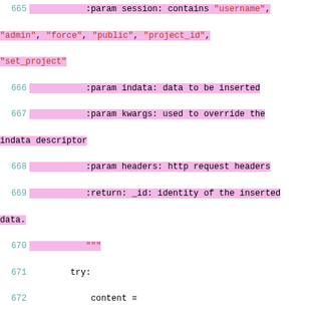Code snippet showing Python source lines 665-678 with syntax highlighting. Lines 665-670 are highlighted (docstring params). Lines 671-678 show try block with BaseTopic method calls.